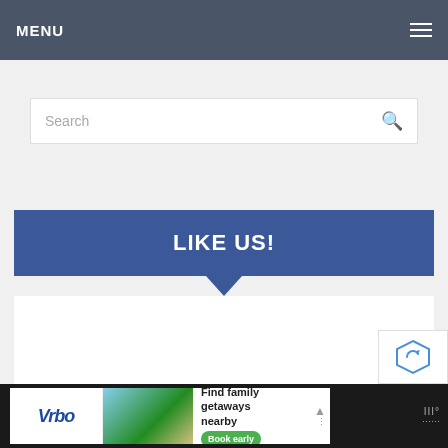MENU
[Figure (screenshot): Search input field with placeholder text 'Search' and a magnifying glass icon on the right]
LIKE US!
[Figure (screenshot): White content area below the LIKE US Facebook-style banner with a downward pointing triangle]
[Figure (screenshot): Advertisement banner at bottom: Vrbo logo, beach house image, 'Find family getaways nearby' text with 'Book early' button]